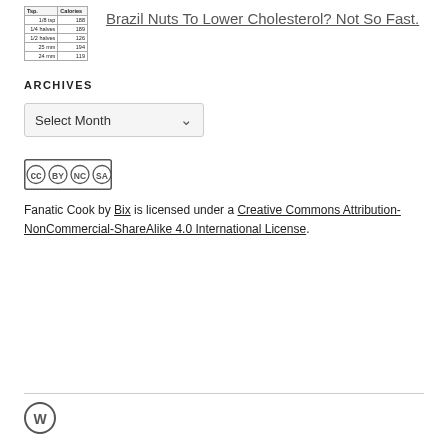[Figure (table-as-image): Small nutrition table showing Tsp and Calories columns with rows: 1/8 tsp, 1/4 halves, 1/2 halves, 25 mm, 24 mm with corresponding calorie values]
Brazil Nuts To Lower Cholesterol? Not So Fast.
ARCHIVES
Select Month
[Figure (logo): Creative Commons BY NC SA badge with four circular icons]
Fanatic Cook by Bix is licensed under a Creative Commons Attribution-NonCommercial-ShareAlike 4.0 International License.
[Figure (logo): WordPress logo icon at page footer]